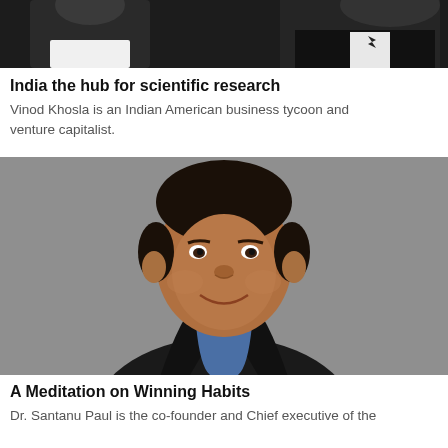[Figure (photo): Cropped photo of a person in dark jacket and white shirt, partially visible at top of page]
India the hub for scientific research
Vinod Khosla is an Indian American business tycoon and venture capitalist.
[Figure (photo): Portrait photo of Dr. Santanu Paul, a man smiling, wearing a dark blazer over a blue shirt, against a grey background]
A Meditation on Winning Habits
Dr. Santanu Paul is the co-founder and Chief executive of the